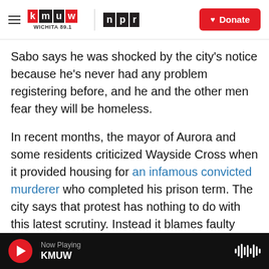KMUW Wichita 89.1 / NPR — Donate
Sabo says he was shocked by the city's notice because he's never had any problem registering before, and he and the other men fear they will be homeless.
In recent months, the mayor of Aurora and some residents criticized Wayside Cross when it provided housing for an infamous convicted murderer who completed his prison term. The city says that protest has nothing to do with this latest scrutiny. Instead it blames faulty measurements. Police Chief Kristen Ziman says the city realized its old mapping system measured some boundaries
Now Playing KMUW